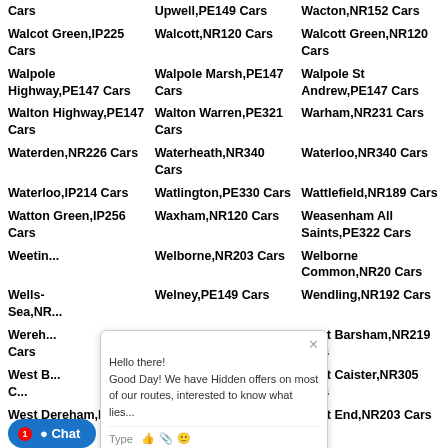Cars
Upwell,PE149 Cars
Wacton,NR152 Cars
Walcot Green,IP225 Cars
Walcott,NR120 Cars
Walcott Green,NR120 Cars
Walpole Highway,PE147 Cars
Walpole Marsh,PE147 Cars
Walpole St Andrew,PE147 Cars
Walton Highway,PE147 Cars
Walton Warren,PE321 Cars
Warham,NR231 Cars
Waterden,NR226 Cars
Waterheath,NR340 Cars
Waterloo,NR340 Cars
Waterloo,IP214 Cars
Watlington,PE330 Cars
Wattlefield,NR189 Cars
Watton Green,IP256 Cars
Waxham,NR120 Cars
Weasenham All Saints,PE322 Cars
Weetin...
Welborne,NR203 Cars
Welborne Common,NR20 Cars
Wells-Sea,NR...
Welney,PE149 Cars
Wendling,NR192 Cars
Wereh...Cars
West Acre,PE321 Cars
West Barsham,NR219 Cars
West B...C...
Westbrook Green,IP224 Cars
West Caister,NR305 Cars
West Dereham,NR58
West End,IP257 Cars
West End,NR203 Cars